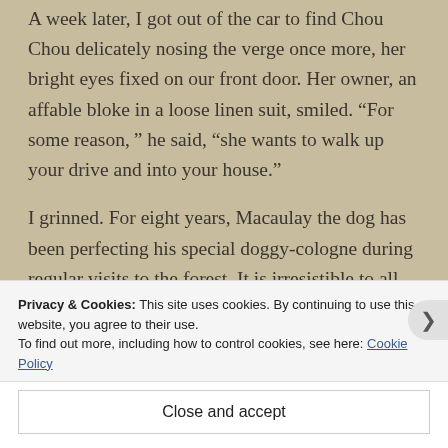A week later, I got out of the car to find Chou Chou delicately nosing the verge once more, her bright eyes fixed on our front door. Her owner, an affable bloke in a loose linen suit, smiled. “For some reason,” he said, “she wants to walk up your drive and into your house.”
I grinned. For eight years, Macaulay the dog has been perfecting his special doggy-cologne during regular visits to the forest. It is irresistible to all dogs which has resulted in a few unfortunate encounters from over-
Privacy & Cookies: This site uses cookies. By continuing to use this website, you agree to their use.
To find out more, including how to control cookies, see here: Cookie Policy
Close and accept